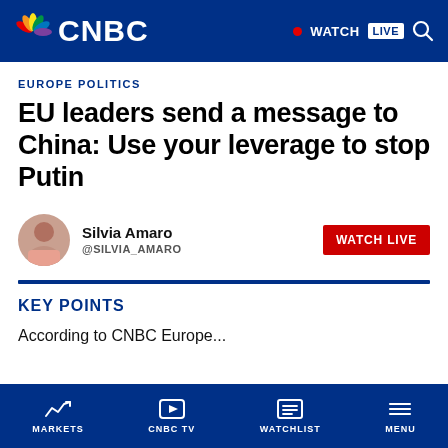CNBC
EUROPE POLITICS
EU leaders send a message to China: Use your leverage to stop Putin
Silvia Amaro @SILVIA_AMARO
KEY POINTS
According to CNBC Europe...
MARKETS | CNBC TV | WATCHLIST | MENU